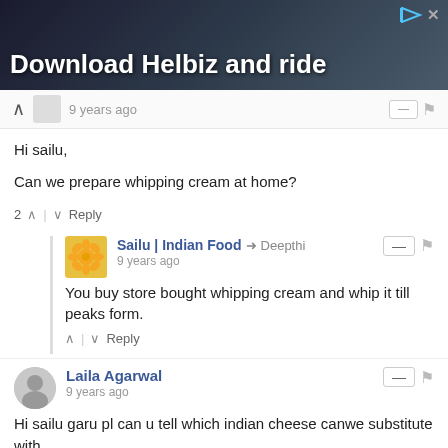[Figure (photo): Advertisement banner with dark background showing 'Download Helbiz and ride' text]
9 years ago
Hi sailu,

Can we prepare whipping cream at home?
2  Reply
Sailu | Indian Food → Deepthi
9 years ago
You buy store bought whipping cream and whip it till peaks form.
Reply
Laila Agarwal
9 years ago
Hi sailu garu pl can u tell which indian cheese canwe substitute with.
1  Reply
Sailu | Indian Food